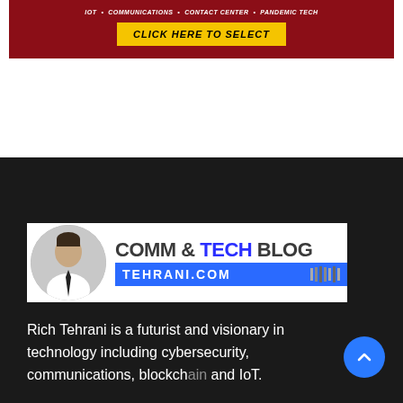[Figure (screenshot): Red banner with navigation links (IoT, Communications, Contact Center, Pandemic Tech) and a yellow 'CLICK HERE TO SELECT' button]
[Figure (logo): Comm & Tech Blog banner with a headshot of Rich Tehrani and the text COMM & TECH BLOG and TEHRANI.COM with vertical bars on blue background]
Rich Tehrani is a futurist and visionary in technology including cybersecurity, communications, blockchain and IoT.